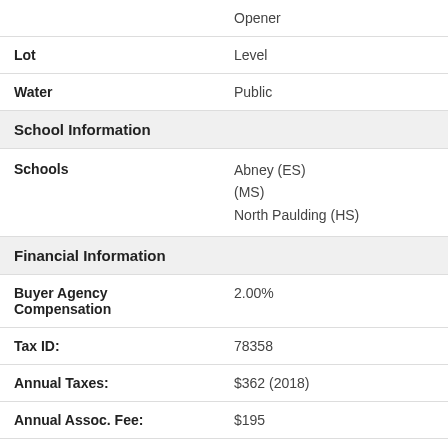| Field | Value |
| --- | --- |
|  | Opener |
| Lot | Level |
| Water | Public |
| School Information |  |
| Schools | Abney (ES)
(MS)
North Paulding (HS) |
| Financial Information |  |
| Buyer Agency Compensation | 2.00% |
| Tax ID: | 78358 |
| Annual Taxes: | $362 (2018) |
| Annual Assoc. Fee: | $195 |
| Closed Date: | 11/05/2018 |